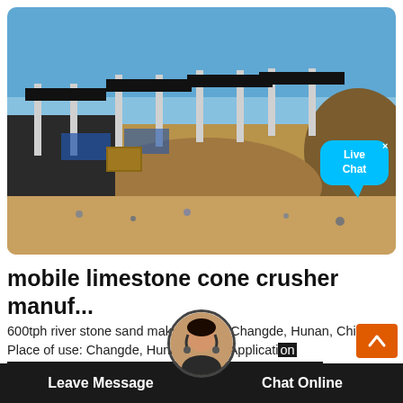[Figure (photo): Outdoor industrial/construction site with multiple large flat-roof canopy structures supported by white cylindrical concrete columns, gravel and crushed stone on ground, blue sky background with surrounding terrain]
mobile limestone cone crusher manuf...
600tph river stone sand making line in Changde, Hunan, China. Place of use: Changde, Hunan, China Application building Equipment: HPT3... crusher, VSI6X1263 sand making machine, S5X3075... rating screen, S5X2760-3